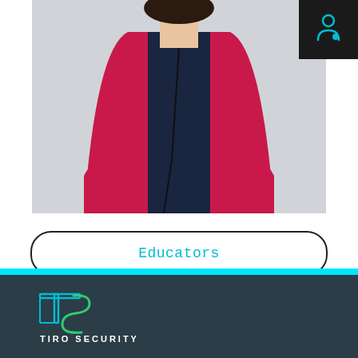[Figure (photo): Woman wearing a red/pink blazer over dark navy outfit, partial torso view, light background]
[Figure (logo): Dark square icon with a stylized figure/person icon in cyan/blue]
Educators
Meet the Current Class
[Figure (logo): Tiro Security logo: geometric TS monogram in cyan/teal outline on dark background, with text TIRO SECURITY below]